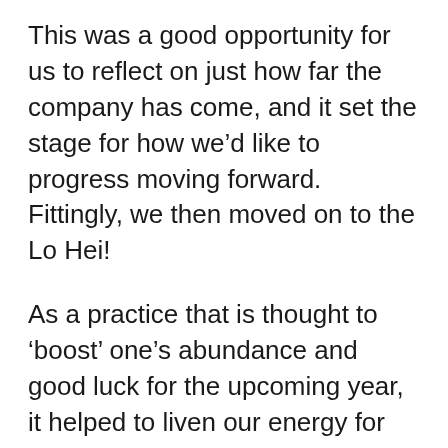This was a good opportunity for us to reflect on just how far the company has come, and it set the stage for how we'd like to progress moving forward. Fittingly, we then moved on to the Lo Hei!
As a practice that is thought to ‘boost’ one’s abundance and good luck for the upcoming year, it helped to liven our energy for the onslaught of food that was about to ensue.
The buffet spread served a selection of Asian-inspired dishes that ranged from